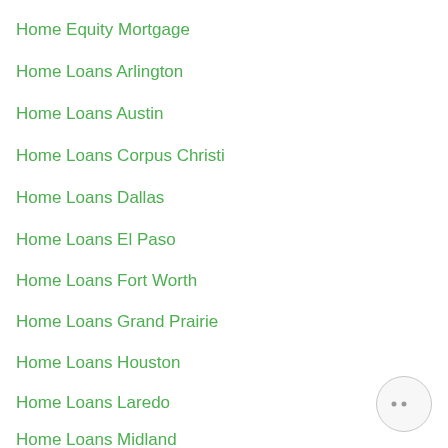Home Equity Mortgage
Home Loans Arlington
Home Loans Austin
Home Loans Corpus Christi
Home Loans Dallas
Home Loans El Paso
Home Loans Fort Worth
Home Loans Grand Prairie
Home Loans Houston
Home Loans Laredo
Home Loans Midland